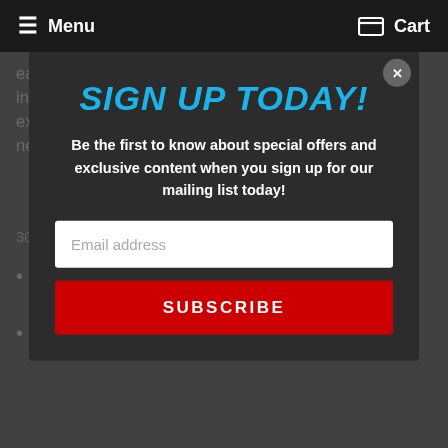Menu   Cart
easier than ever. The BC coilover ride height is independently user adjustable so you can dial in the exact look to reflect your driving style and performance needs.
SIGN UP TODAY!
Be the first to know about special offers and exclusive content when you sign up for our mailing list today!
Email address
SUBSCRIBE
30 levels of dampening force adjustment
Pillowball mounts and adjustable camber plates included
Separate Full length height adjustable